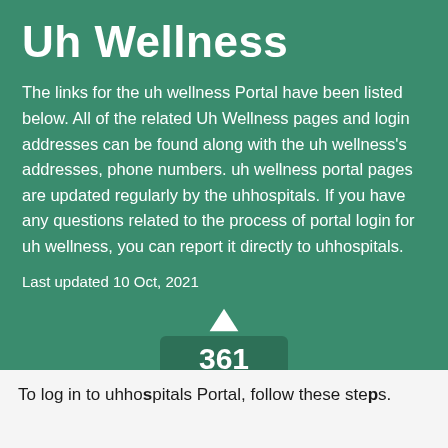Uh Wellness
The links for the uh wellness Portal have been listed below. All of the related Uh Wellness pages and login addresses can be found along with the uh wellness's addresses, phone numbers. uh wellness portal pages are updated regularly by the uhhospitals. If you have any questions related to the process of portal login for uh wellness, you can report it directly to uhhospitals.
Last updated 10 Oct, 2021
[Figure (infographic): Vote widget showing up arrow, count of 361, and down arrow]
To log in to uhhospitals Portal, follow these steps.